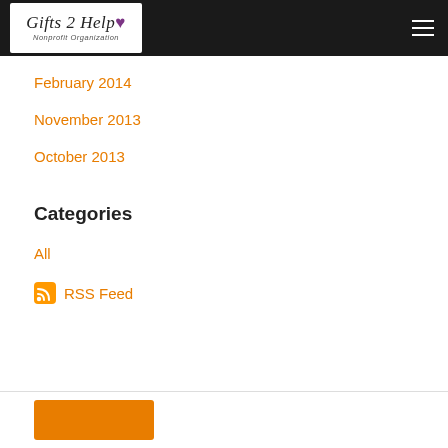Gifts 2 Help Nonprofit Organization
February 2014
November 2013
October 2013
Categories
All
RSS Feed